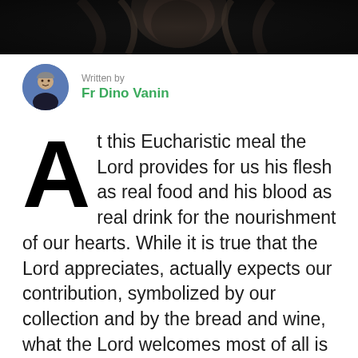[Figure (illustration): Dark header image showing a religious figure or classical artwork, cropped at top]
Written by
Fr Dino Vanin
At this Eucharistic meal the Lord provides for us his flesh as real food and his blood as real drink for the nourishment of our hearts. While it is true that the Lord appreciates, actually expects our contribution, symbolized by our collection and by the bread and wine, what the Lord welcomes most of all is Tom, that